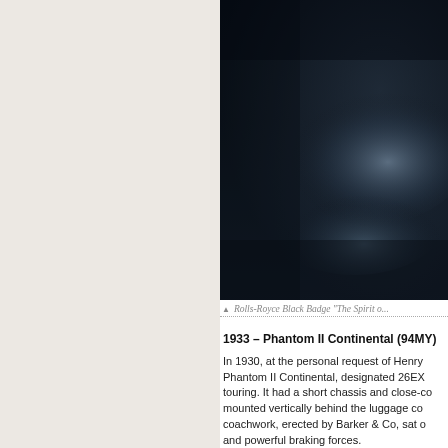[Figure (photo): Dark, moody photograph of a Rolls-Royce Black Badge vehicle, nearly all in deep navy/black tones with subtle highlights]
▲ Rolls-Royce Black Badge "The Spirit o...
1933 – Phantom II Continental (94MY)
In 1930, at the personal request of Henry Phantom II Continental, designated 26EX touring. It had a short chassis and close-co mounted vertically behind the luggage co coachwork, erected by Barker & Co, sat o and powerful braking forces.